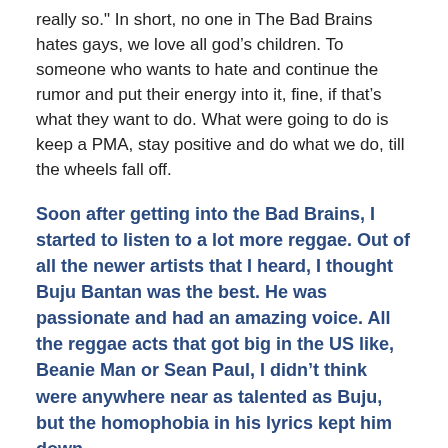really so." In short, no one in The Bad Brains hates gays, we love all god’s children. To someone who wants to hate and continue the rumor and put their energy into it, fine, if that’s what they want to do. What were going to do is keep a PMA, stay positive and do what we do, till the wheels fall off.
Soon after getting into the Bad Brains, I started to listen to a lot more reggae. Out of all the newer artists that I heard, I thought Buju Bantan was the best. He was passionate and had an amazing voice. All the reggae acts that got big in the US like, Beanie Man or Sean Paul, I didn’t think were anywhere near as talented as Buju, but the homophobia in his lyrics kept him down.
He had a lot of energy behind the music, but what people have to realize is, there’s different levels of radical-ness. Whether you read the bible or the Koran or whatever it might say one thing, but if it’s ment to have children, that’s what I do...